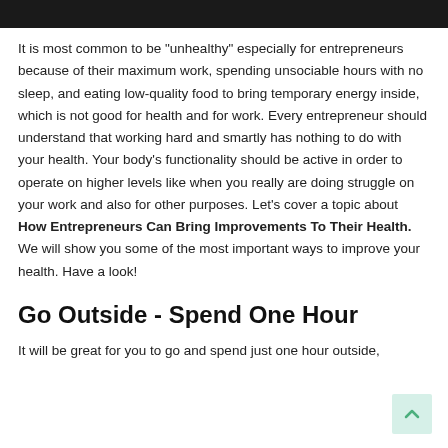It is most common to be "unhealthy" especially for entrepreneurs because of their maximum work, spending unsociable hours with no sleep, and eating low-quality food to bring temporary energy inside, which is not good for health and for work. Every entrepreneur should understand that working hard and smartly has nothing to do with your health. Your body's functionality should be active in order to operate on higher levels like when you really are doing struggle on your work and also for other purposes. Let's cover a topic about How Entrepreneurs Can Bring Improvements To Their Health. We will show you some of the most important ways to improve your health. Have a look!
Go Outside - Spend One Hour
It will be great for you to go and spend just one hour outside,